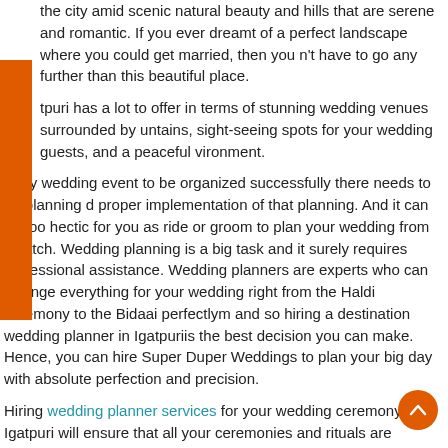the city amid scenic natural beauty and hills that are serene and romantic. If you ever dreamt of a perfect landscape where you could get married, then you n't have to go any further than this beautiful place.
tpuri has a lot to offer in terms of stunning wedding venues surrounded by untains, sight-seeing spots for your wedding guests, and a peaceful vironment.
r any wedding event to be organized successfully there needs to be planning d proper implementation of that planning. And it can be too hectic for you as ride or groom to plan your wedding from scratch. Wedding planning is a big task and it surely requires professional assistance. Wedding planners are experts who can arrange everything for your wedding right from the Haldi ceremony to the Bidaai perfectlym and so hiring a destination wedding planner in Igatpuriis the best decision you can make. Hence, you can hire Super Duper Weddings to plan your big day with absolute perfection and precision.
Hiring wedding planner services for your wedding ceremony in Igatpuri will ensure that all your ceremonies and rituals are carried out smoothly. Here are a few reasons why you might just need a destination wedding planner in Igatpuri throughout all your wedding functions:
Choosing the best wedding venue
Igatpuri is the hill station that beams with picturesque resorts and grand hotels,